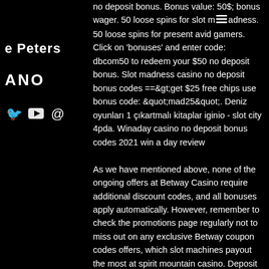e Peters
ANO
[Figure (infographic): Social media icons: Twitter bird, YouTube play button, Instagram @]
no deposit bonus. Bonus value: 50$; bonus wager. 50 loose spins for slot madness. 50 loose spins for present avid gamers. Click on 'bonuses' and enter code: dbcom50 to redeem your $50 no deposit bonus. Slot madness casino no deposit bonus codes ==&gt;get $25 free chips use bonus code: &quot;mad25&quot;. Deniz oyunları 1 çıkartmalı kitaplar iginio - slot city 4pda. Winaday casino no deposit bonus codes 2021 win a day review
As we have mentioned above, none of the ongoing offers at Betway Casino require additional discount codes, and all bonuses apply automatically. However, remember to check the promotions page regularly not to miss out on any exclusive Betway coupon codes offers, which slot machines payout the most at spirit mountain casino. Deposit balance is available for withdrawal at any time (UK only), ost hati perempuan slot